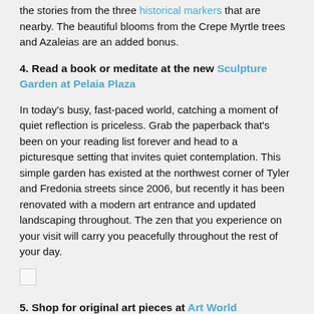the stories from the three historical markers that are nearby. The beautiful blooms from the Crepe Myrtle trees and Azaleias are an added bonus.
4. Read a book or meditate at the new Sculpture Garden at Pelaia Plaza
In today’s busy, fast-paced world, catching a moment of quiet reflection is priceless. Grab the paperback that’s been on your reading list forever and head to a picturesque setting that invites quiet contemplation. This simple garden has existed at the northwest corner of Tyler and Fredonia streets since 2006, but recently it has been renovated with a modern art entrance and updated landscaping throughout. The zen that you experience on your visit will carry you peacefully throughout the rest of your day.
[Figure (photo): Small broken image placeholder icon]
5. Shop for original art pieces at Art World